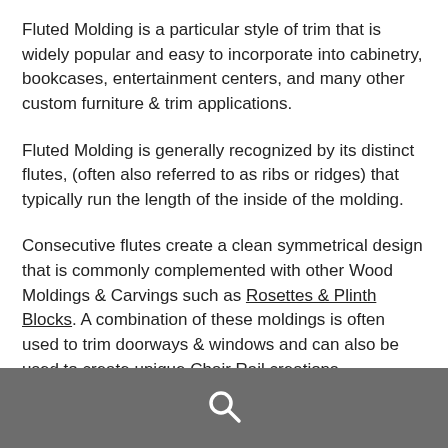Fluted Molding is a particular style of trim that is widely popular and easy to incorporate into cabinetry, bookcases, entertainment centers, and many other custom furniture & trim applications.
Fluted Molding is generally recognized by its distinct flutes, (often also referred to as ribs or ridges) that typically run the length of the inside of the molding.
Consecutive flutes create a clean symmetrical design that is commonly complemented with other Wood Moldings & Carvings such as Rosettes & Plinth Blocks. A combination of these moldings is often used to trim doorways & windows and can also be used to create unique Chair Rail creations.
[search icon]